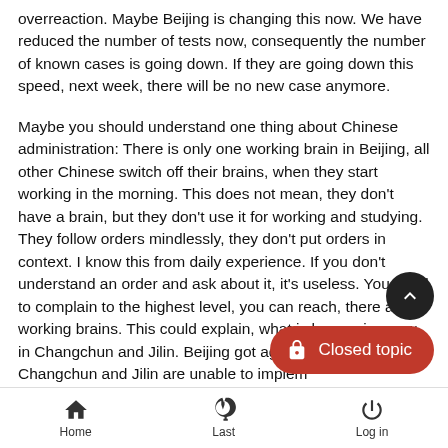overreaction. Maybe Beijing is changing this now. We have reduced the number of tests now, consequently the number of known cases is going down. If they are going down this speed, next week, there will be no new case anymore.
Maybe you should understand one thing about Chinese administration: There is only one working brain in Beijing, all other Chinese switch off their brains, when they start working in the morning. This does not mean, they don't have a brain, but they don't use it for working and studying. They follow orders mindlessly, they don't put orders in context. I know this from daily experience. If you don't understand an order and ask about it, it's useless. You need to complain to the highest level, you can reach, there are working brains. This could explain, what is happening now in Changchun and Jilin. Beijing got aggressive, that Changchun and Jilin are unable to imple...
Zambeezi and der_mick like this post
Home  Last  Log in